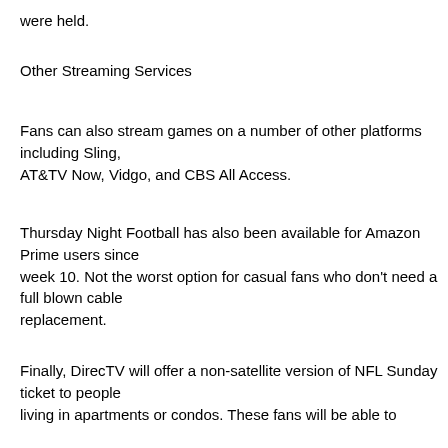were held.
Other Streaming Services
Fans can also stream games on a number of other platforms including Sling, AT&TV Now, Vidgo, and CBS All Access.
Thursday Night Football has also been available for Amazon Prime users since week 10. Not the worst option for casual fans who don't need a full blown cable replacement.
Finally, DirecTV will offer a non-satellite version of NFL Sunday ticket to people living in apartments or condos. These fans will be able to